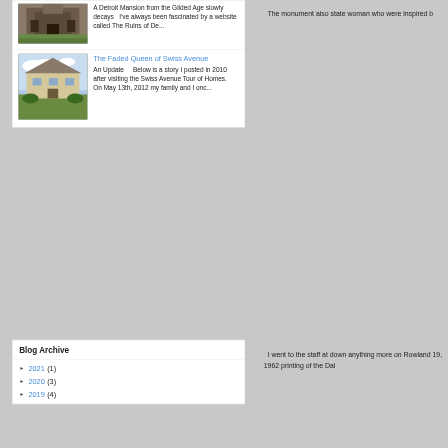[Figure (photo): Thumbnail image of a decaying Detroit mansion building]
A Detroit Mansion from the Gilded Age slowly decays   I've always been fascinated by a website called The Ruins of De...
[Figure (photo): Thumbnail image of the Faded Queen of Swiss Avenue house with green lawn]
The Faded Queen of Swiss Avenue
An Update    Below is a story I posted in 2010 after visiting the Swiss Avenue Tour of Homes.  On May 13th, 2012 my family and I onc...
Blog Archive
► 2021 (1)
► 2020 (3)
► 2019 (4)
The monument also state woman who were inspired b
I went to the staff at down anything more on Rowland 19, 1962 printing of the Dal